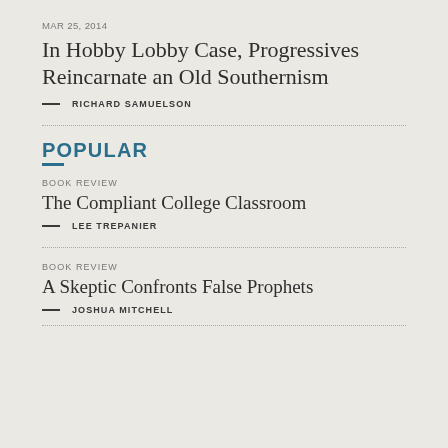MAR 25, 2014
In Hobby Lobby Case, Progressives Reincarnate an Old Southernism
— RICHARD SAMUELSON
POPULAR
BOOK REVIEW
The Compliant College Classroom
— LEE TREPANIER
BOOK REVIEW
A Skeptic Confronts False Prophets
— JOSHUA MITCHELL